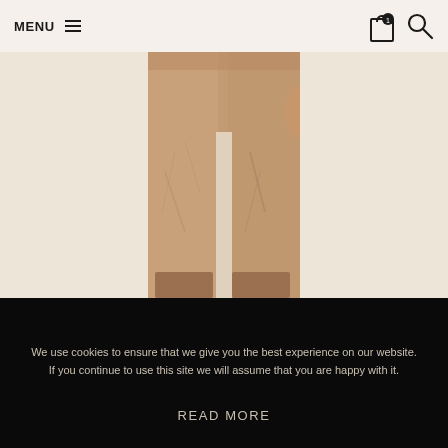MENU ☰
[Figure (photo): Lower body of a person wearing brown/tan corduroy or linen trousers, cropped at the waist to the feet, standing against a light beige background.]
We use cookies to ensure that we give you the best experience on our website. If you continue to use this site we will assume that you are happy with it.
OK
READ MORE